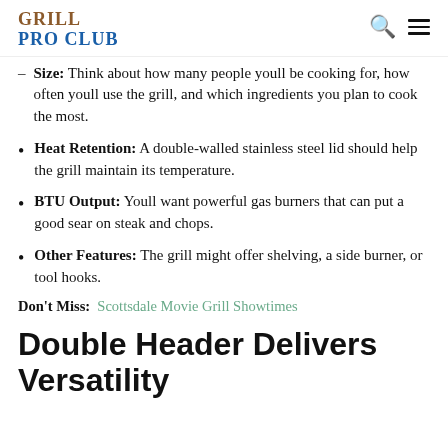GRILL PRO CLUB
Size: Think about how many people youll be cooking for, how often youll use the grill, and which ingredients you plan to cook the most.
Heat Retention: A double-walled stainless steel lid should help the grill maintain its temperature.
BTU Output: Youll want powerful gas burners that can put a good sear on steak and chops.
Other Features: The grill might offer shelving, a side burner, or tool hooks.
Don't Miss: Scottsdale Movie Grill Showtimes
Double Header Delivers Versatility